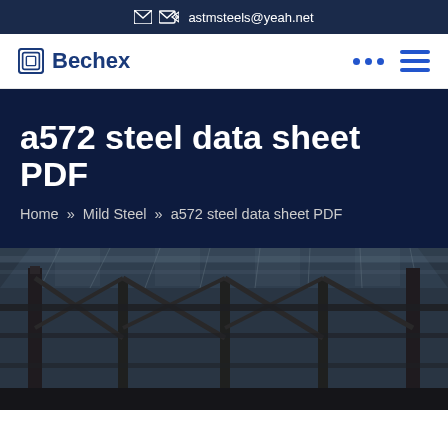astmsteels@yeah.net
Bechex
a572 steel data sheet PDF
Home » Mild Steel » a572 steel data sheet PDF
[Figure (photo): Interior of a large industrial steel structure/factory building, showing steel beams and girders with a glass roof canopy, photographed from below in low light.]